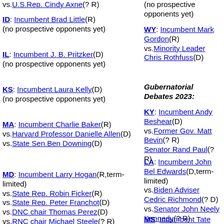vs.U.S.Rep. Cindy Axne(? R)
ID: Incumbent Brad Little(R) (no prospective opponents yet)
IL: Incumbent J. B. Pritzker(D) (no prospective opponents yet)
KS: Incumbent Laura Kelly(D) (no prospective opponents yet)
MA: Incumbent Charlie Baker(R) vs.Harvard Professor Danielle Allen(D) vs.State Sen.Ben Downing(D)
MD: Incumbent Larry Hogan(R,term-limited) vs.State Rep. Robin Ficker(R) vs.State Rep. Peter Franchot(D) vs.DNC chair Thomas Perez(D) vs.RNC chair Michael Steele(? R)
(no prospective opponents yet)
WY: Incumbent Mark Gordon(R) vs.Minority Leader Chris Rothfuss(D)
Gubernatorial Debates 2023:
KY: Incumbent Andy Beshear(D) vs.Former Gov. Matt Bevin(? R) Senator Rand Paul(? R)
LA: Incumbent John Bel Edwards(D,term-limited) vs.Biden Adviser Cedric Richmond(? D) vs.Senator John Neely Kennedy(? R)
MS: Incumbent Tate Reeves(R) (no prospective opponents yet)